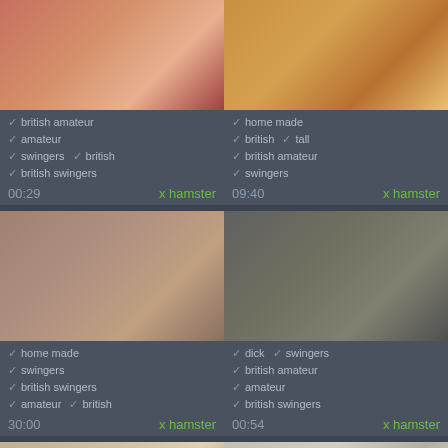[Figure (screenshot): Video thumbnail grid showing adult video website listings with tags and metadata]
british amateur, amateur, swingers, british, british swingers
00:29   x hamster
home made, british, tall, british amateur, swingers
09:40   x hamster
home made, swingers, british swingers, amateur, british
30:00   x hamster
dick, swingers, british amateur, amateur, british swingers
00:54   x hamster